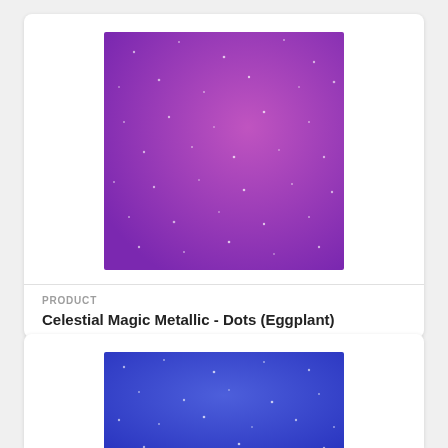[Figure (photo): Eggplant/purple metallic fabric with scattered small dots/stars pattern]
PRODUCT
Celestial Magic Metallic - Dots (Eggplant)
$11.49
[Figure (photo): Blue metallic fabric with scattered small dots/stars pattern (partially visible)]